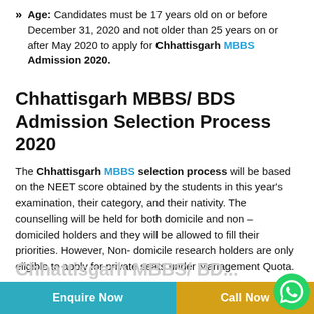Age: Candidates must be 17 years old on or before December 31, 2020 and not older than 25 years on or after May 2020 to apply for Chhattisgarh MBBS Admission 2020.
Chhattisgarh MBBS/ BDS Admission Selection Process 2020
The Chhattisgarh MBBS selection process will be based on the NEET score obtained by the students in this year's examination, their category, and their nativity. The counselling will be held for both domicile and non – domiciled holders and they will be allowed to fill their priorities. However, Non- domicile research holders are only eligible to apply for private seats under Management Quota.
Enquire Now   Call Now